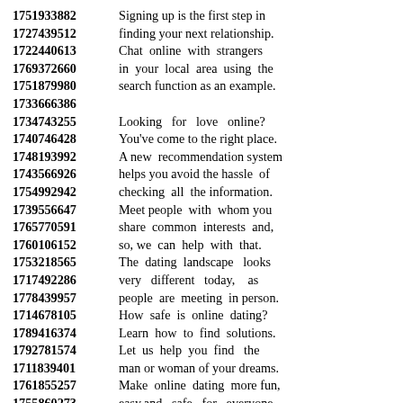1751933882   Signing up is the first step in
1727439512   finding your next relationship.
1722440613   Chat online with strangers
1769372660   in your local area using the
1751879980   search function as an example.
1733666386
1734743255   Looking for love online?
1740746428   You've come to the right place.
1748193992   A new recommendation system
1743566926   helps you avoid the hassle of
1754992942   checking all the information.
1739556647   Meet people with whom you
1765770591   share common interests and,
1760106152   so, we can help with that.
1753218565   The dating landscape looks
1717492286   very different today, as
1778439957   people are meeting in person.
1714678105   How safe is online dating?
1789416374   Learn how to find solutions.
1792781574   Let us help you find the
1711839401   man or woman of your dreams.
1761855257   Make online dating more fun,
1755860273   easy,and safe for everyone.
1723503321
1781200508   A detailed search engine